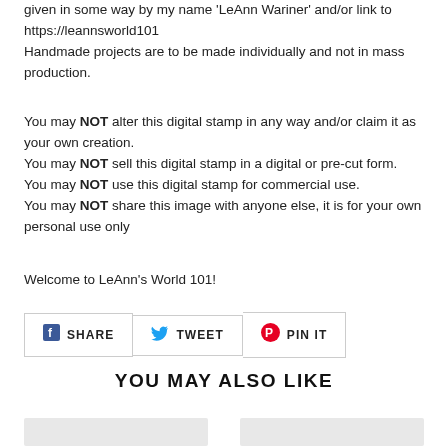given in some way by my name 'LeAnn Wariner' and/or link to https://leannsworld101
Handmade projects are to be made individually and not in mass production.
You may NOT alter this digital stamp in any way and/or claim it as your own creation.
You may NOT sell this digital stamp in a digital or pre-cut form.
You may NOT use this digital stamp for commercial use.
You may NOT share this image with anyone else, it is for your own personal use only
Welcome to LeAnn's World 101!
SHARE  TWEET  PIN IT
YOU MAY ALSO LIKE